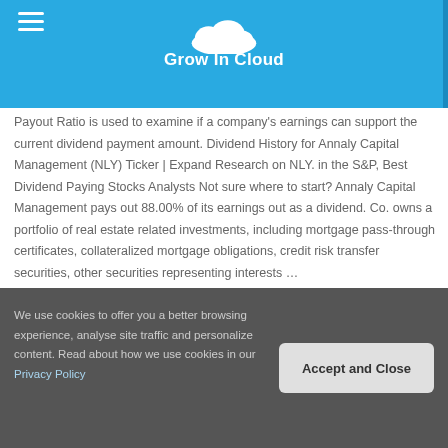Grow In Cloud
Payout Ratio is used to examine if a company's earnings can support the current dividend payment amount. Dividend History for Annaly Capital Management (NLY) Ticker | Expand Research on NLY. in the S&P, Best Dividend Paying Stocks Analysts Not sure where to start? Annaly Capital Management pays out 88.00% of its earnings out as a dividend. Co. owns a portfolio of real estate related investments, including mortgage pass-through certificates, collateralized mortgage obligations, credit risk transfer securities, other securities representing interests …
5,000 Fingers Of Dr T Dungeon, Joel Meaning In Telugu, Paul Casey
We use cookies to offer you a better browsing experience, analyse site traffic and personalize content. Read about how we use cookies in our Privacy Policy